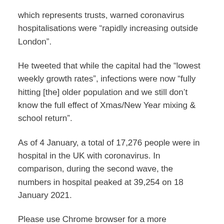which represents trusts, warned coronavirus hospitalisations were “rapidly increasing outside London”.
He tweeted that while the capital had the “lowest weekly growth rates”, infections were now “fully hitting [the] older population and we still don’t know the full effect of Xmas/New Year mixing & school return”.
As of 4 January, a total of 17,276 people were in hospital in the UK with coronavirus. In comparison, during the second wave, the numbers in hospital peaked at 39,254 on 18 January 2021.
Please use Chrome browser for a more accessible video player